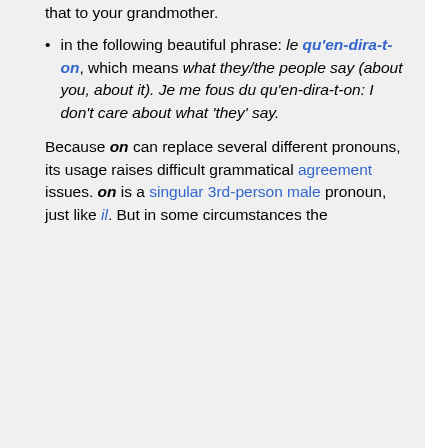that to your grandmother.
in the following beautiful phrase: le qu'en-dira-t-on, which means what they/the people say (about you, about it). Je me fous du qu'en-dira-t-on: I don't care about what 'they' say.
Because on can replace several different pronouns, its usage raises difficult grammatical agreement issues. on is a singular 3rd-person male pronoun, just like il. But in some circumstances the